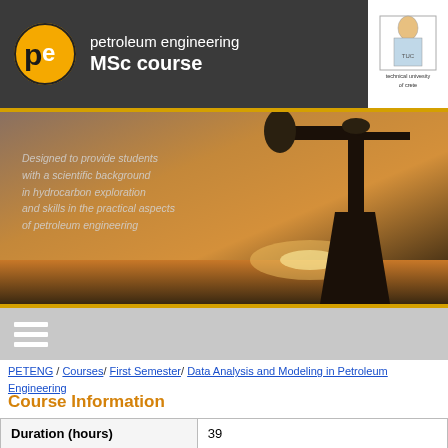petroleum engineering MSc course
[Figure (photo): Oil pump jack silhouette against a sunset sky background with overlaid italic text about the course description]
Designed to provide students with a scientific background in hydrocarbon exploration and skills in the practical aspects of petroleum engineering
PETENG / Courses/ First Semester/ Data Analysis and Modeling in Petroleum Engineering
Course Information
| Duration (hours) | 39 |
| ECTs | 5 |